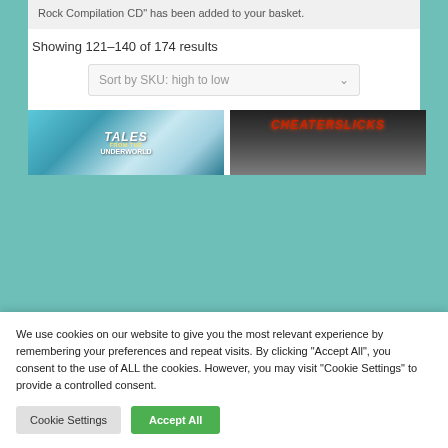Rock Compilation CD" has been added to your basket.
Showing 121–140 of 174 results
Sort by SKU: high to low
[Figure (photo): Product image: Tales from the Underworld]
[Figure (photo): Product image: Cheaterslicks sign on building]
We use cookies on our website to give you the most relevant experience by remembering your preferences and repeat visits. By clicking "Accept All", you consent to the use of ALL the cookies. However, you may visit "Cookie Settings" to provide a controlled consent.
Cookie Settings
Accept All